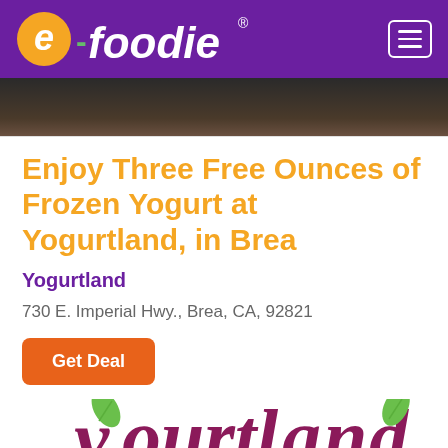[Figure (logo): e-foodie website header logo on purple background with hamburger menu icon]
[Figure (photo): Dark food photograph strip, partially visible at top]
Enjoy Three Free Ounces of Frozen Yogurt at Yogurtland, in Brea
Yogurtland
730 E. Imperial Hwy., Brea, CA, 92821
Get Deal
[Figure (logo): Yogurtland logo partially visible at bottom of page]